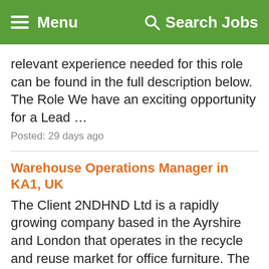Menu  Search Jobs
relevant experience needed for this role can be found in the full description below. The Role We have an exciting opportunity for a Lead …
Posted: 29 days ago
Warehouse Operations Manager in KA1, UK
The Client 2NDHND Ltd is a rapidly growing company based in the Ayrshire and London that operates in the recycle and reuse market for office furniture. The company sells directly through the trade …
Posted: 39 days ago
Strategic Manager - Transport & Fleet Maintenance in KA3, UK
Job Purpose A variety of soft skills and experience may be required for the following role. Ple…